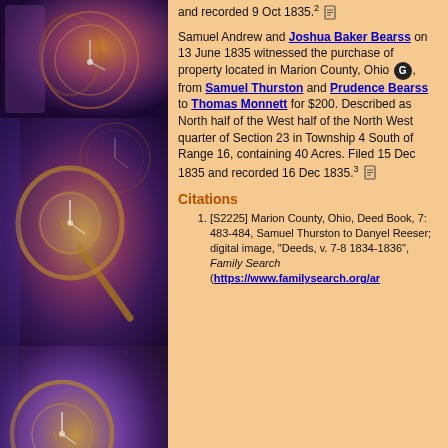[Figure (photo): Thumbnail image of clocks and magnifying glass, artistic photo, top]
[Figure (photo): Thumbnail image of clocks and magnifying glass, artistic photo, middle]
[Figure (photo): Thumbnail image of clocks and magnifying glass, artistic photo, bottom]
and recorded 9 Oct 1835.² 🗒
Samuel Andrew and Joshua Baker Bearss on 13 June 1835 witnessed the purchase of property located in Marion County, Ohio G, from Samuel Thurston and Prudence Bearss to Thomas Monnett for $200. Described as North half of the West half of the North West quarter of Section 23 in Township 4 South of Range 16, containing 40 Acres. Filed 15 Dec 1835 and recorded 16 Dec 1835.³ 🗒
Citations
1. [S2225] Marion County, Ohio, Deed Book, 7: 483-484, Samuel Thurston to Danyel Reeser; digital image, "Deeds, v. 7-8 1834-1836", Family Search (https://www.familysearch.org/ar